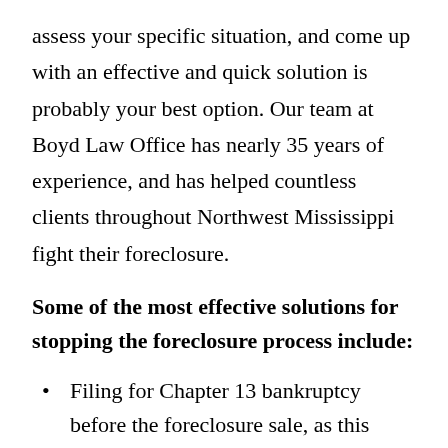assess your specific situation, and come up with an effective and quick solution is probably your best option. Our team at Boyd Law Office has nearly 35 years of experience, and has helped countless clients throughout Northwest Mississippi fight their foreclosure.
Some of the most effective solutions for stopping the foreclosure process include:
Filing for Chapter 13 bankruptcy before the foreclosure sale, as this usually leads to an "Automatic Stay"
Short sales